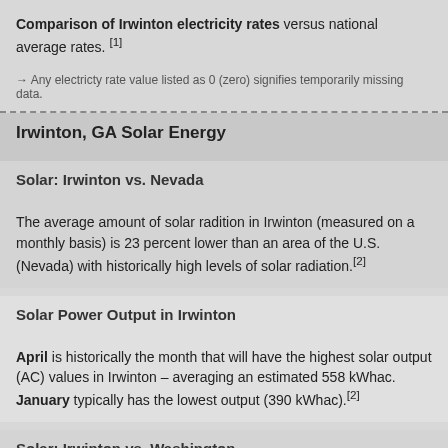Comparison of Irwinton electricity rates versus national average rates. [1]
→ Any electricty rate value listed as 0 (zero) signifies temporarily missing data.
Irwinton, GA Solar Energy
Solar: Irwinton vs. Nevada
The average amount of solar radition in Irwinton (measured on a monthly basis) is 23 percent lower than an area of the U.S. (Nevada) with historically high levels of solar radiation. [2]
Solar Power Output in Irwinton
April is historically the month that will have the highest solar output (AC) values in Irwinton – averaging an estimated 558 kWhac. January typically has the lowest output (390 kWhac). [2]
Solar: Irwinton vs. Washington